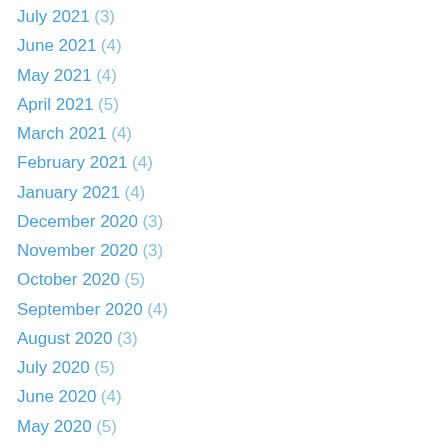July 2021 (3)
June 2021 (4)
May 2021 (4)
April 2021 (5)
March 2021 (4)
February 2021 (4)
January 2021 (4)
December 2020 (3)
November 2020 (3)
October 2020 (5)
September 2020 (4)
August 2020 (3)
July 2020 (5)
June 2020 (4)
May 2020 (5)
April 2020 (4)
March 2020 (4)
February 2020 (4)
January 2020 (5)
December 2019 (3)